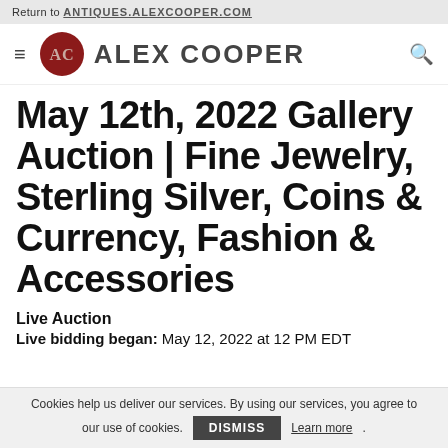Return to ANTIQUES.ALEXCOOPER.COM
[Figure (logo): Alex Cooper auction house logo with red circular AC monogram and text ALEX COOPER]
May 12th, 2022 Gallery Auction | Fine Jewelry, Sterling Silver, Coins & Currency, Fashion & Accessories
Live Auction
Live bidding began: May 12, 2022 at 12 PM EDT
Cookies help us deliver our services. By using our services, you agree to our use of cookies. DISMISS Learn more.